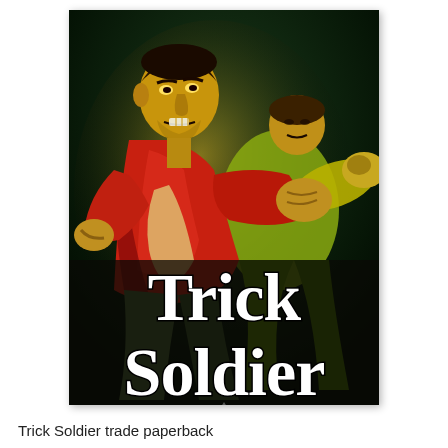[Figure (illustration): Vintage pulp fiction book cover for 'Trick Soldier' showing two men fighting. The dominant figure in red and yellow clothing punches toward the viewer. The title 'Trick Soldier' is displayed in large white gothic lettering on a dark background in the lower portion of the cover.]
Trick Soldier trade paperback